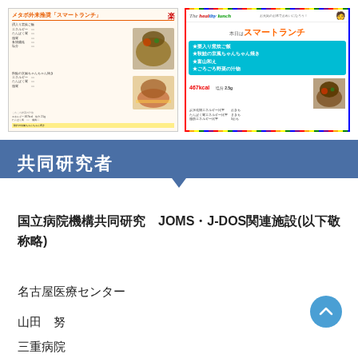[Figure (photo): Left: Japanese lunch menu flyer titled 'メタボ外来推奨「スマートランチ」' with food images and nutritional info. Right: Colorful healthy lunch menu flyer titled 'The healthy lunch' / '本日はスマートランチ' showing menu items including 栗入り窯炊ご飯, 秋鮭の京風ちゃんちゃん焼き, 富山和え, ごろごろ野菜の汁物 with calorie count 467kcal 塩分2.5g]
共同研究者
国立病院機構共同研究　JOMS・J-DOS関連施設(以下敬称略)
名古屋医療センター
山田　努
三重病院